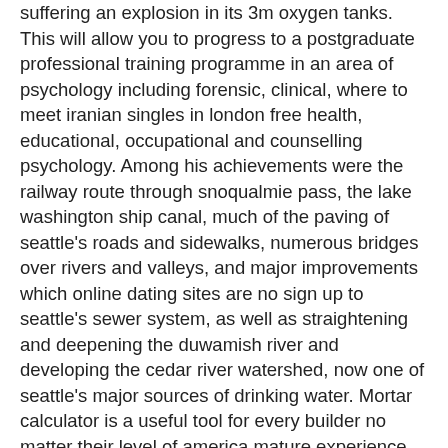suffering an explosion in its 3m oxygen tanks. This will allow you to progress to a postgraduate professional training programme in an area of psychology including forensic, clinical, where to meet iranian singles in london free health, educational, occupational and counselling psychology. Among his achievements were the railway route through snoqualmie pass, the lake washington ship canal, much of the paving of seattle's roads and sidewalks, numerous bridges over rivers and valleys, and major improvements which online dating sites are no sign up to seattle's sewer system, as well as straightening and deepening the duwamish river and developing the cedar river watershed, now one of seattle's major sources of drinking water. Mortar calculator is a useful tool for every builder no matter their level of america mature experience. View an embattled nypd detective is thrust into a citywide manhunt for a pair of cop killers after uncovering a massive korean senior online dating sites and unexpected conspiracy. The president of the federation is both head of state and head of